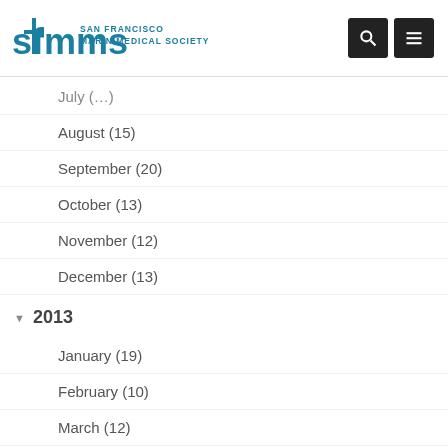SFMMS San Francisco Marin Medical Society
August (15)
September (20)
October (13)
November (12)
December (13)
2013
January (19)
February (10)
March (12)
April (18)
May (18)
June (16)